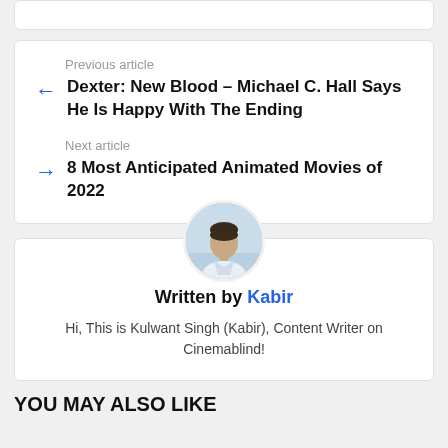Previous article
Dexter: New Blood – Michael C. Hall Says He Is Happy With The Ending
Next article
8 Most Anticipated Animated Movies of 2022
[Figure (photo): Circular avatar photo of author Kabir (Kulwant Singh)]
Written by Kabir
Hi, This is Kulwant Singh (Kabir), Content Writer on Cinemablind!
YOU MAY ALSO LIKE